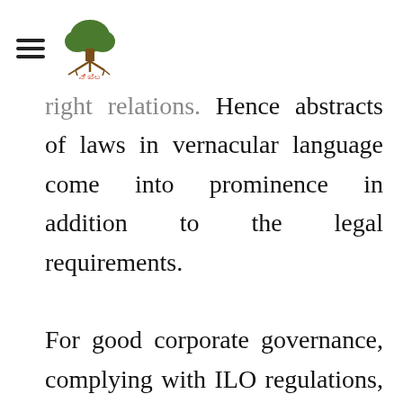[hamburger menu] [logo: tree icon with Kannada text]
right relations. Hence abstracts of laws in vernacular language come into prominence in addition to the legal requirements.

For good corporate governance, complying with ILO regulations, inspection, needs abstract in Kannada is felt very much. All persons cherish and enjoy any matter/communication in